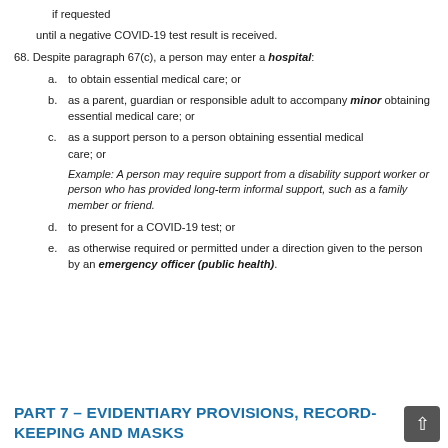if requested
until a negative COVID-19 test result is received.
68. Despite paragraph 67(c), a person may enter a hospital:
a. to obtain essential medical care; or
b. as a parent, guardian or responsible adult to accompany minor obtaining essential medical care; or
c. as a support person to a person obtaining essential medical care; or
Example: A person may require support from a disability support worker or person who has provided long-term informal support, such as a family member or friend.
d. to present for a COVID-19 test; or
e. as otherwise required or permitted under a direction given to the person by an emergency officer (public health).
PART 7 – EVIDENTIARY PROVISIONS, RECORD-KEEPING AND MASKS